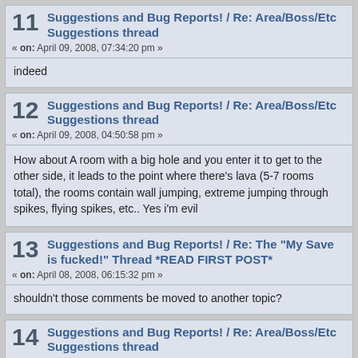11 Suggestions and Bug Reports! / Re: Area/Boss/Etc Suggestions thread
« on: April 09, 2008, 07:34:20 pm »
indeed
12 Suggestions and Bug Reports! / Re: Area/Boss/Etc Suggestions thread
« on: April 09, 2008, 04:50:58 pm »
How about A room with a big hole and you enter it to get to the other side, it leads to the point where there's lava (5-7 rooms total), the rooms contain wall jumping, extreme jumping through spikes, flying spikes, etc.. Yes i'm evil
13 Suggestions and Bug Reports! / Re: The "My Save is fucked!" Thread *READ FIRST POST*
« on: April 08, 2008, 06:15:32 pm »
shouldn't those comments be moved to another topic?
14 Suggestions and Bug Reports! / Re: Area/Boss/Etc Suggestions thread
« on: April 07, 2008, 10:41:13 pm »
make a room where it's tetris, but vertical!